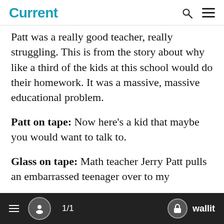Current
Patt was a really good teacher, really struggling. This is from the story about why like a third of the kids at this school would do their homework. It was a massive, massive educational problem.
Patt on tape: Now here’s a kid that maybe you would want to talk to.
Glass on tape: Math teacher Jerry Patt pulls an embarrassed teenager over to my
1/1  wallit